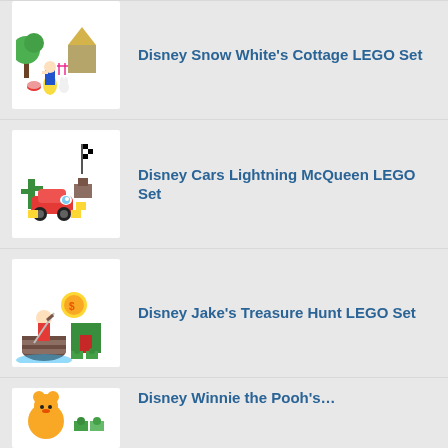Disney Snow White's Cottage LEGO Set
Disney Cars Lightning McQueen LEGO Set
Disney Jake's Treasure Hunt LEGO Set
Disney Winnie the Pooh's…